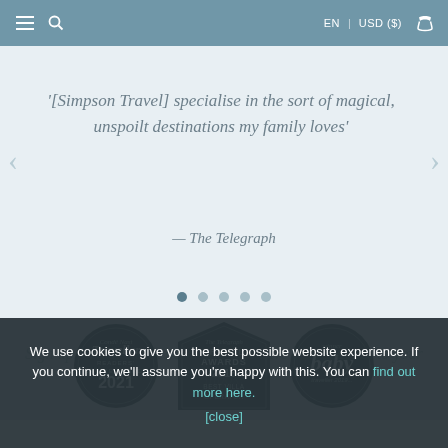≡  🔍  EN | USD ($)  📞
'[Simpson Travel] specialise in the sort of magical, unspoilt destinations my family loves'
— The Telegraph
[Figure (logo): Three award badges: Condé Nast Traveller Readers Choice Awards 2021 (circular badge), The Telegraph Travel Awards 2018 Best Villa Operator (envelope/diamond shape badge), Winner Baby Traveller 2019 (circular badge)]
We use cookies to give you the best possible website experience. If you continue, we'll assume you're happy with this. You can find out more here. [close]
Sign up for our latest news and exclusive offers, direct to your inbox.